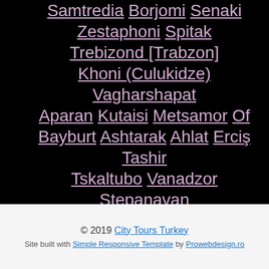Samtredia | Borjomi | Senaki | Zestaphoni | Spitak | Trebizond [Trabzon] | Khoni (Culukidze) | Vagharshapat | Aparan | Kutaisi | Metsamor | Of | Bayburt | Ashtarak | Ahlat | Erciş | Tashir | Tskaltubo | Vanadzor | Stepanavan | Yeghvard | Doğubayazıt
© 2019 City Tours Turkey — Site built with Simple Responsive Template by Prowebdesign.ro